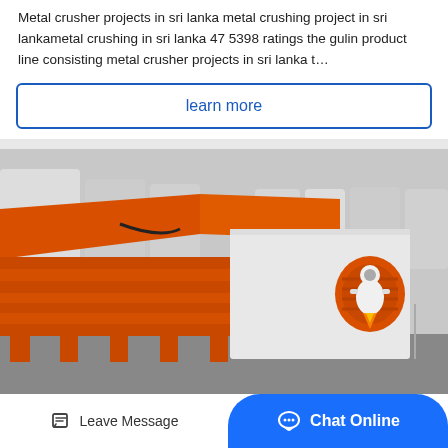Metal crusher projects in sri lanka metal crushing project in sri lankametal crushing in sri lanka 47 5398 ratings the gulin product line consisting metal crusher projects in sri lanka t…
learn more
[Figure (photo): Industrial vibrating screen / crusher machine in orange and white color, photographed in a factory setting. The machine has an orange frame with slatted screening surfaces and a white side panel with an orange drum-shaped motor casing.]
Leave Message
Chat Online